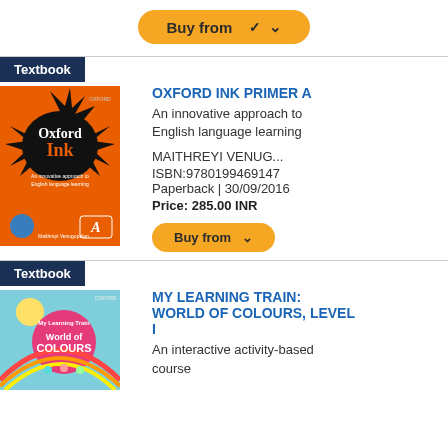[Figure (other): Buy from button (orange rounded rectangle) at top]
Textbook
[Figure (illustration): Oxford Ink Primer A book cover - orange background with ink splash and Oxford Ink text]
OXFORD INK PRIMER A
An innovative approach to English language learning
MAITHREYI VENUG...
ISBN:9780199469147
Paperback | 30/09/2016
Price: 285.00 INR
[Figure (other): Buy from button (orange rounded rectangle)]
Textbook
[Figure (illustration): My Learning Train: World of Colours book cover - teal background with children and rainbow]
MY LEARNING TRAIN: WORLD OF COLOURS, LEVEL I
An interactive activity-based course